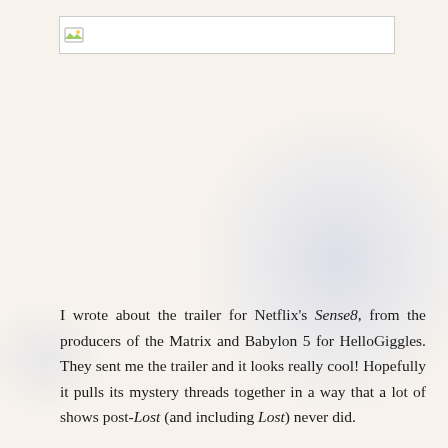[Figure (photo): Broken/missing image placeholder with small image icon, shown as a bordered rectangle with an image icon in the top-left corner]
I wrote about the trailer for Netflix's Sense8, from the producers of the Matrix and Babylon 5 for HelloGiggles. They sent me the trailer and it looks really cool! Hopefully it pulls its mystery threads together in a way that a lot of shows post-Lost (and including Lost) never did.